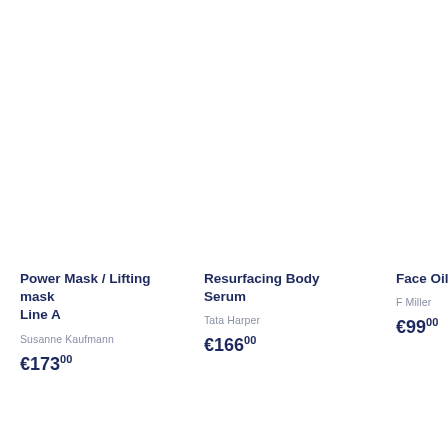Power Mask / Lifting mask Line A
Susanne Kaufmann
€173.00
Resurfacing Body Serum
Tata Harper
€166.00
Face Oil
F Miller
€99.00